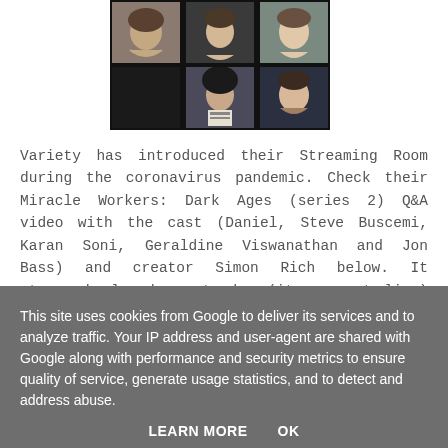[Figure (photo): Video call grid showing multiple people's faces in a Zoom/streaming grid layout, 3 columns × 2 rows, with some dark panels]
Variety has introduced their Streaming Room during the coronavirus pandemic. Check their Miracle Workers: Dark Ages (series 2) Q&A video with the cast (Daniel, Steve Buscemi, Karan Soni, Geraldine Viswanathan and Jon Bass) and creator Simon Rich below. It streamed already yesterday (it was not live) for everyone who registered.source/photo: variety....
This site uses cookies from Google to deliver its services and to analyze traffic. Your IP address and user-agent are shared with Google along with performance and security metrics to ensure quality of service, generate usage statistics, and to detect and address abuse.
LEARN MORE    OK